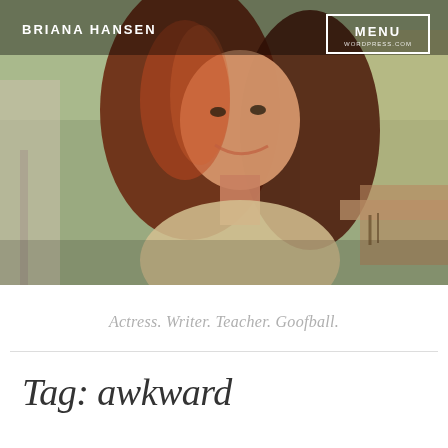[Figure (photo): Portrait photo of Briana Hansen, a woman with long red hair, smiling, wearing a light-colored top, leaning on a railing with an outdoor urban background.]
BRIANA HANSEN
MENU
Actress. Writer. Teacher. Goofball.
Tag: awkward